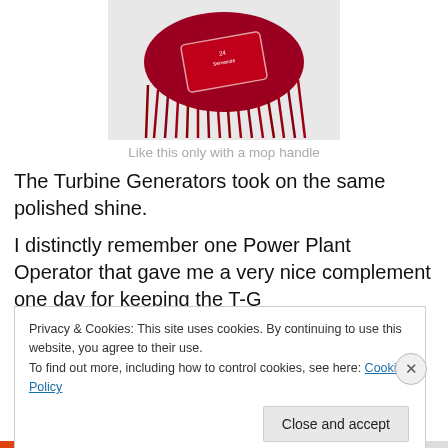[Figure (photo): Red mop head with fringe strands and a label in the center, photographed on a white background]
Like this only with a mop handle
The Turbine Generators took on the same polished shine.
I distinctly remember one Power Plant Operator that gave me a very nice complement one day for keeping the T-G
Privacy & Cookies: This site uses cookies. By continuing to use this website, you agree to their use.
To find out more, including how to control cookies, see here: Cookie Policy
Close and accept